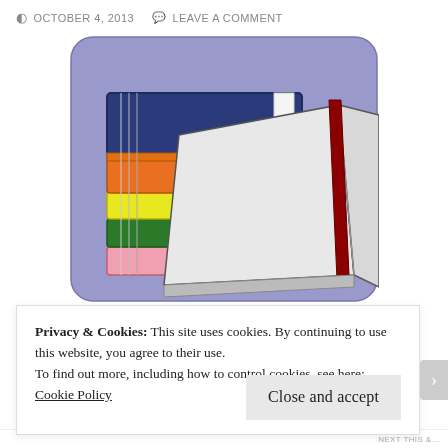OCTOBER 4, 2013   LEAVE A COMMENT
[Figure (illustration): Stack of colorful books with an open book in front, on a purple/blue rounded rectangle background. The stack includes a dark navy blue book on top, an orange book, a yellow book, a green book, and a pink book. The open book has a dark red bookmark ribbon.]
Privacy & Cookies: This site uses cookies. By continuing to use this website, you agree to their use.
To find out more, including how to control cookies, see here: Cookie Policy
Close and accept